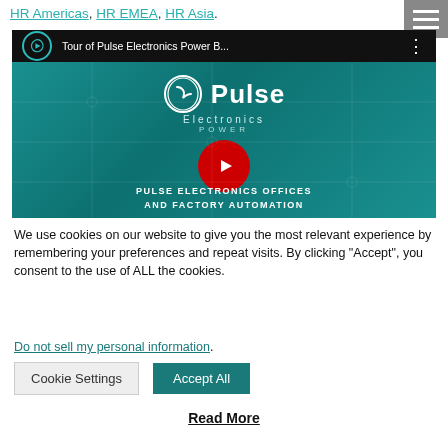HR Americas, HR EMEA, HR Asia.
[Figure (screenshot): YouTube video thumbnail for 'Tour of Pulse Electronics Power B...' showing the Pulse Electronics logo on a teal background with a red play button, and subtitle 'PULSE ELECTRONICS OFFICES AND FACTORY AUTOMATION']
We use cookies on our website to give you the most relevant experience by remembering your preferences and repeat visits. By clicking “Accept”, you consent to the use of ALL the cookies.
Do not sell my personal information.
Cookie Settings   Accept All
Read More